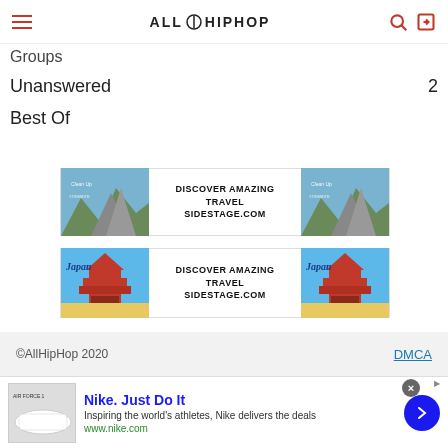ALL HIP HOP
Groups
Unanswered  2
Best Of
[Figure (infographic): Advertisement banner: Yosemite mountain landscape image with text DISCOVER AMAZING TRAVEL SIDESTAGE.COM, repeated twice side by side]
[Figure (infographic): Advertisement banner: Japan pagoda image with text DISCOVER AMAZING TRAVEL SIDESTAGE.COM, repeated twice side by side]
©AllHipHop 2020   DMCA
[Figure (infographic): Nike advertisement: Nike. Just Do It - Inspiring the world's athletes, Nike delivers the deals - www.nike.com]